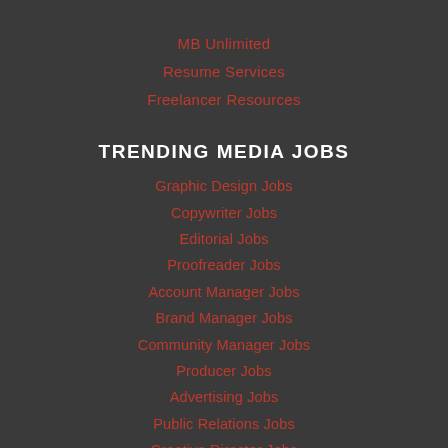MB Unlimited
Resume Services
Freelancer Resources
TRENDING MEDIA JOBS
Graphic Design Jobs
Copywriter Jobs
Editorial Jobs
Proofreader Jobs
Account Manager Jobs
Brand Manager Jobs
Community Manager Jobs
Producer Jobs
Advertising Jobs
Public Relations Jobs
Creative Director Jobs